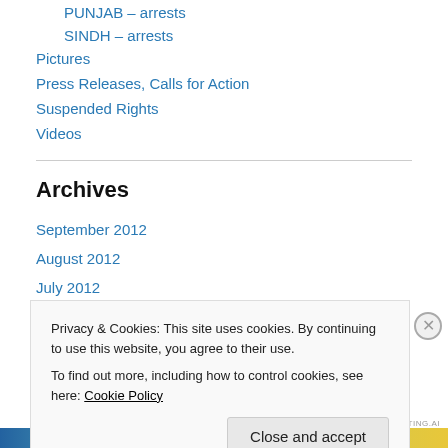PUNJAB – arrests
SINDH – arrests
Pictures
Press Releases, Calls for Action
Suspended Rights
Videos
Archives
September 2012
August 2012
July 2012
June 2012
Privacy & Cookies: This site uses cookies. By continuing to use this website, you agree to their use.
To find out more, including how to control cookies, see here: Cookie Policy
Close and accept